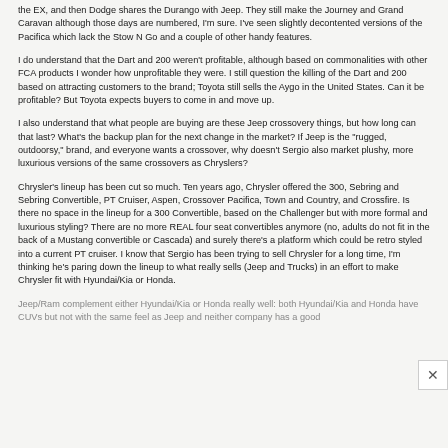the EX, and then Dodge shares the Durango with Jeep. They still make the Journey and Grand Caravan although those days are numbered, I'm sure. I've seen slightly decontented versions of the Pacifica which lack the Stow N Go and a couple of other handy features.
I do understand that the Dart and 200 weren't profitable, although based on commonalities with other FCA products I wonder how unprofitable they were. I still question the killing of the Dart and 200 based on attracting customers to the brand; Toyota still sells the Aygo in the United States. Can it be profitable? But Toyota expects buyers to come in and move up.
I also understand that what people are buying are these Jeep crossovery things, but how long can that last? What's the backup plan for the next change in the market? If Jeep is the "rugged, outdoorsy," brand, and everyone wants a crossover, why doesn't Sergio also market plushy, more luxurious versions of the same crossovers as Chryslers?
Chrysler's lineup has been cut so much. Ten years ago, Chrysler offered the 300, Sebring and Sebring Convertible, PT Cruiser, Aspen, Crossover Pacifica, Town and Country, and Crossfire. Is there no space in the lineup for a 300 Convertible, based on the Challenger but with more formal and luxurious styling? There are no more REAL four seat convertibles anymore (no, adults do not fit in the back of a Mustang convertible or Cascada) and surely there's a platform which could be retro styled into a current PT cruiser. I know that Sergio has been trying to sell Chrysler for a long time, I'm thinking he's paring down the lineup to what really sells (Jeep and Trucks) in an effort to make Chrysler fit with Hyundai/Kia or Honda.
Jeep/Ram complement either Hyundai/Kia or Honda really well: both Hyundai/Kia and Honda have CUVs but not with the same feel as Jeep and neither company has a good...